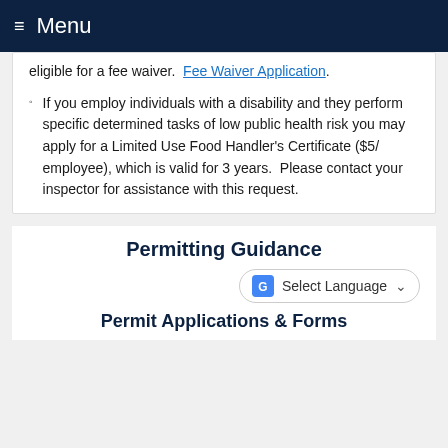Menu
eligible for a fee waiver.  Fee Waiver Application.
If you employ individuals with a disability and they perform specific determined tasks of low public health risk you may apply for a Limited Use Food Handler's Certificate ($5/ employee), which is valid for 3 years.  Please contact your inspector for assistance with this request.
Permitting Guidance
Permit Applications & Forms